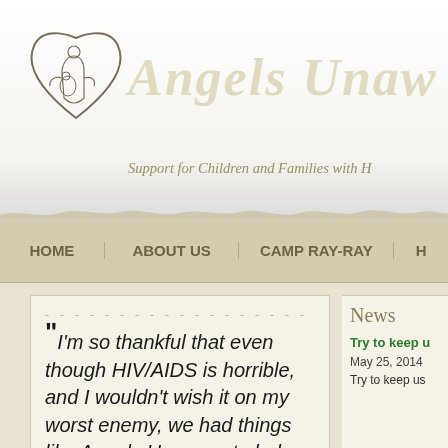[Figure (logo): Angels Unaware heart logo with figures inside]
Angels Unaw...
Support for Children and Families with H...
HOME | ABOUT US | CAMP RAY-RAY | H...
"I'm so thankful that even though HIV/AIDS is horrible, and I wouldn't wish it on my worst enemy, we had things like Angels Unaware to help support us! Thank you to all
News
Try to keep u...
May 25, 2014
Try to keep us...